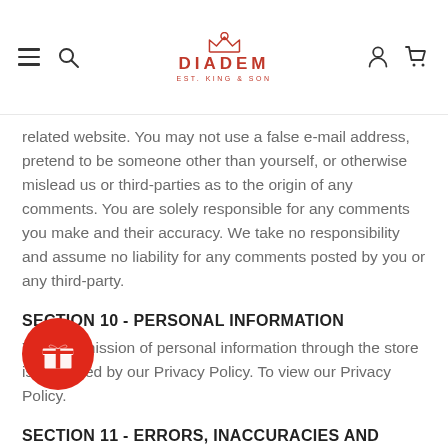DIADEM
related website. You may not use a false e-mail address, pretend to be someone other than yourself, or otherwise mislead us or third-parties as to the origin of any comments. You are solely responsible for any comments you make and their accuracy. We take no responsibility and assume no liability for any comments posted by you or any third-party.
SECTION 10 - PERSONAL INFORMATION
Your submission of personal information through the store is governed by our Privacy Policy. To view our Privacy Policy.
SECTION 11 - ERRORS, INACCURACIES AND OMISSIONS